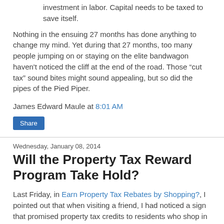investment in labor. Capital needs to be taxed to save itself.
Nothing in the ensuing 27 months has done anything to change my mind. Yet during that 27 months, too many people jumping on or staying on the elite bandwagon haven't noticed the cliff at the end of the road. Those “cut tax” sound bites might sound appealing, but so did the pipes of the Pied Piper.
James Edward Maule at 8:01 AM
Share
Wednesday, January 08, 2014
Will the Property Tax Reward Program Take Hold?
Last Friday, in Earn Property Tax Rebates by Shopping?, I pointed out that when visiting a friend, I had noticed a sign that promised property tax credits to residents who shop in